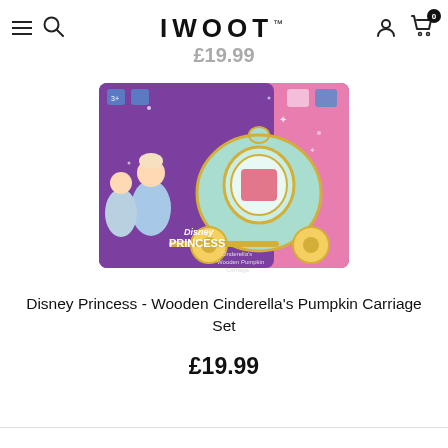IWOOT
£19.99
[Figure (photo): Disney Princess Wooden Cinderella's Pumpkin Carriage Set product box, showing a mint-green wooden pumpkin carriage toy with Cinderella figurine, displayed in purple product packaging with Disney Princess branding.]
Disney Princess - Wooden Cinderella's Pumpkin Carriage Set
£19.99